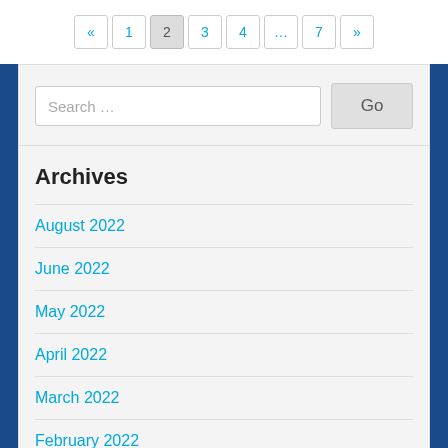« 1 2 3 4 … 7 »
[Figure (screenshot): Search bar with text 'Search …' and a 'Go' button]
Archives
August 2022
June 2022
May 2022
April 2022
March 2022
February 2022